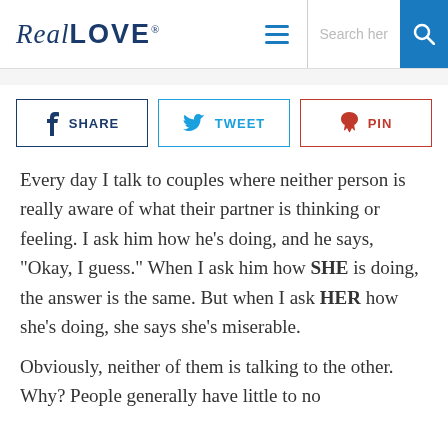RealLOVE® | Search her
[Figure (screenshot): Social share buttons: SHARE (Facebook), TWEET (Twitter), PIN (Pinterest)]
Every day I talk to couples where neither person is really aware of what their partner is thinking or feeling. I ask him how he’s doing, and he says, “Okay, I guess.” When I ask him how SHE is doing, the answer is the same. But when I ask HER how she’s doing, she says she’s miserable.
Obviously, neither of them is talking to the other. Why? People generally have little to no